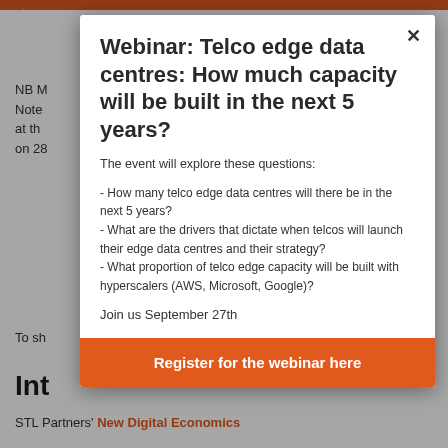Service [partially obscured]
NB M[obscured]
Note[obscured]
at th[obscured]
on 28[obscured]
To sh[obscured]
Webinar: Telco edge data centres: How much capacity will be built in the next 5 years?
The event will explore these questions:
- How many telco edge data centres will there be in the next 5 years?
- What are the drivers that dictate when telcos will launch their edge data centres and their strategy?
- What proportion of telco edge capacity will be built with hyperscalers (AWS, Microsoft, Google)?
Join us September 27th
Register for the webinar here
Int[obscured]
STL Partners' New Digital Economics